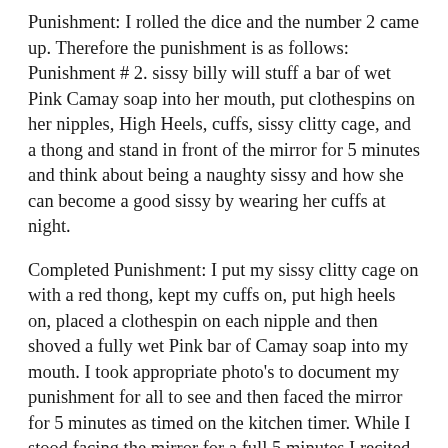Punishment: I rolled the dice and the number 2 came up. Therefore the punishment is as follows: Punishment # 2. sissy billy will stuff a bar of wet Pink Camay soap into her mouth, put clothespins on her nipples, High Heels, cuffs, sissy clitty cage, and a thong and stand in front of the mirror for 5 minutes and think about being a naughty sissy and how she can become a good sissy by wearing her cuffs at night.
Completed Punishment: I put my sissy clitty cage on with a red thong, kept my cuffs on, put high heels on, placed a clothespin on each nipple and then shoved a fully wet Pink bar of Camay soap into my mouth. I took appropriate photo's to document my punishment for all to see and then faced the mirror for 5 minutes as timed on the kitchen timer. While I stood facing the mirror for a full 5 minutes I recited to myself a part of one my punishments previously given to me by Mistress Amber. Mistress Amber and the other Mistresses and Ladies of 'The Institute for Cross-Dressing Punishment' are always right